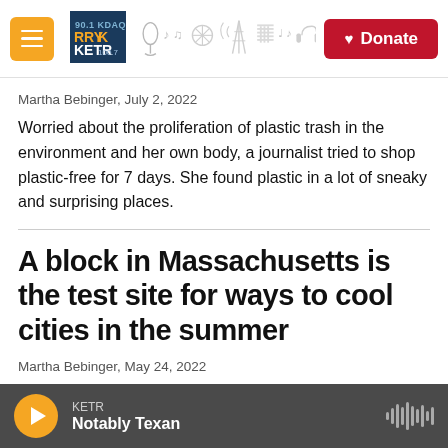KETR radio station header with logo, illustrations, and Donate button
Martha Bebinger,  July 2, 2022
Worried about the proliferation of plastic trash in the environment and her own body, a journalist tried to shop plastic-free for 7 days. She found plastic in a lot of sneaky and surprising places.
A block in Massachusetts is the test site for ways to cool cities in the summer
Martha Bebinger,  May 24, 2022
A single block in Chelsea, Mass., may offer a
KETR — Notably Texan (player bar)